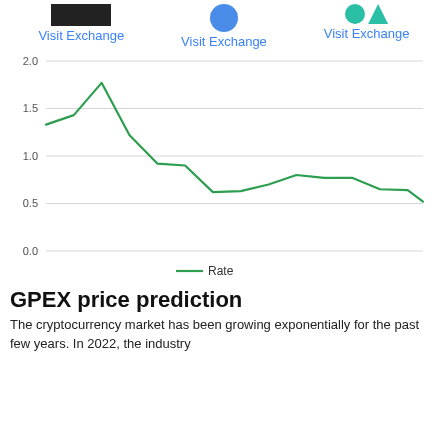Visit Exchange   Visit Exchange   Visit Exchange
[Figure (line-chart): ]
GPEX price prediction
The cryptocurrency market has been growing exponentially for the past few years. In 2022, the industry